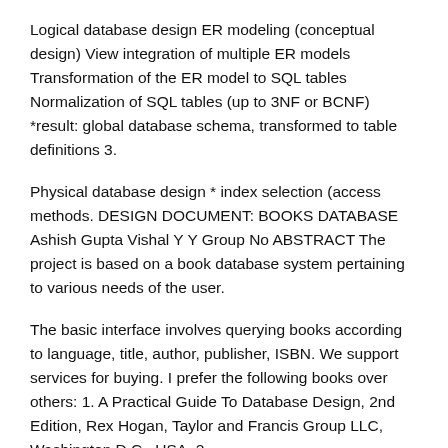Logical database design ER modeling (conceptual design) View integration of multiple ER models Transformation of the ER model to SQL tables Normalization of SQL tables (up to 3NF or BCNF) *result: global database schema, transformed to table definitions 3.
Physical database design * index selection (access methods. DESIGN DOCUMENT: BOOKS DATABASE Ashish Gupta Vishal Y Y Group No ABSTRACT The project is based on a book database system pertaining to various needs of the user.
The basic interface involves querying books according to language, title, author, publisher, ISBN. We support services for buying. I prefer the following books over others: 1. A Practical Guide To Database Design, 2nd Edition, Rex Hogan, Taylor and Francis Group LLC, Washington D.C., USA, 2.
SQL Queries For Mere Mortals A Hands-on Guide To Data Manipulation In SQL, 4th. Also a great place to look for some pre-canned database models is Len Silverston's Data Model Resource Book Series Volume 1 contains universally applicable data models